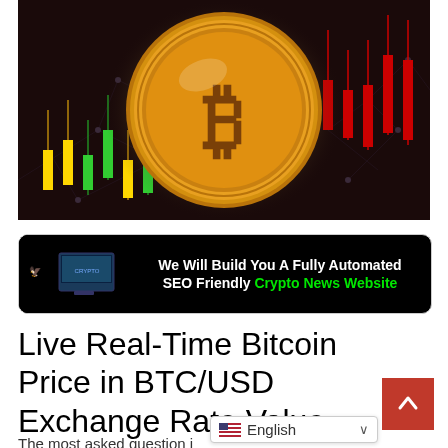[Figure (illustration): Bitcoin gold coin with glowing halo on dark background with candlestick chart on left and red candlesticks on right, network lines in background]
[Figure (infographic): Black banner ad: eagle/palm graphic on left, white bold text 'We Will Build You A Fully Automated SEO Friendly' with 'Crypto News Website' in green]
Live Real-Time Bitcoin Price in BTC/USD Exchange Rate Value
The most asked question i